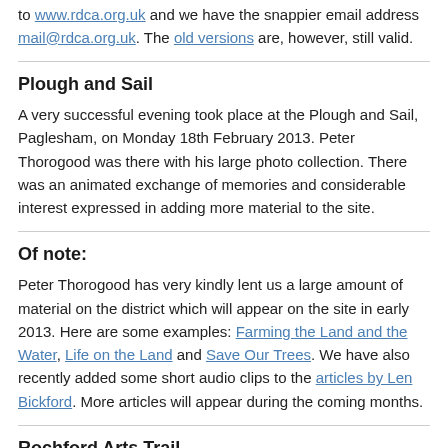to www.rdca.org.uk and we have the snappier email address mail@rdca.org.uk. The old versions are, however, still valid.
Plough and Sail
A very successful evening took place at the Plough and Sail, Paglesham, on Monday 18th February 2013. Peter Thorogood was there with his large photo collection. There was an animated exchange of memories and considerable interest expressed in adding more material to the site.
Of note:
Peter Thorogood has very kindly lent us a large amount of material on the district which will appear on the site in early 2013. Here are some examples: Farming the Land and the Water, Life on the Land and Save Our Trees. We have also recently added some short audio clips to the articles by Len Bickford. More articles will appear during the coming months.
Rochford Arts Trail
Our archive had a stall at Rochford Library on 3rd November 2012, as part of